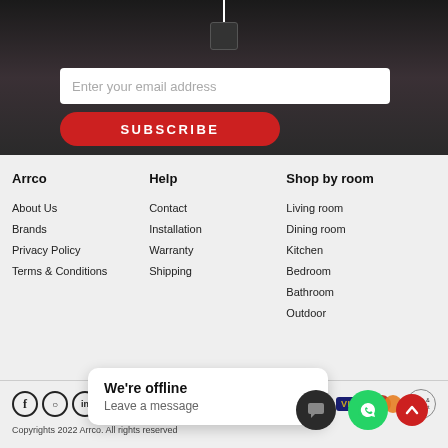[Figure (photo): Dark background with pendant lamp, email subscription form with 'Enter your email address' input and red 'SUBSCRIBE' button]
Arrco
About Us
Brands
Privacy Policy
Terms & Conditions
Help
Contact
Installation
Warranty
Shipping
Shop by room
Living room
Dining room
Kitchen
Bedroom
Bathroom
Outdoor
[Figure (infographic): We're offline / Leave a message chat widget overlay]
Copyrights 2022 Arrco. All rights reserved